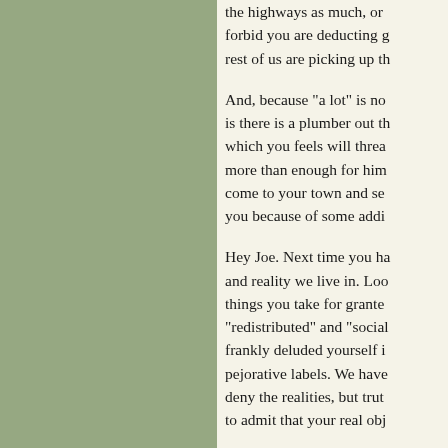the highways as much, or forbid you are deducting g rest of us are picking up th
And, because "a lot" is no is there is a plumber out th which you feels will threa more than enough for him come to your town and se you because of some addi
Hey Joe. Next time you ha and reality we live in. Loo things you take for grante "redistributed" and "social frankly deluded yourself i pejorative labels. We have deny the realities, but trut to admit that your real obj
And in the end, it won't be